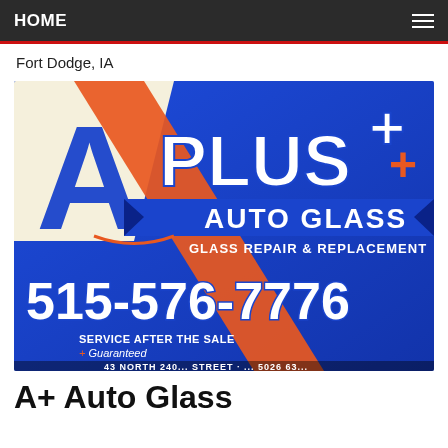HOME
Fort Dodge, IA
[Figure (logo): A+ Auto Glass business sign on blue background with orange diagonal stripe. Large letter A with PLUS++ text, AUTO GLASS subtitle, GLASS REPAIR & REPLACEMENT, phone number 515-576-7776, SERVICE AFTER THE SALE + Guaranteed, and partial address at bottom.]
A+ Auto Glass